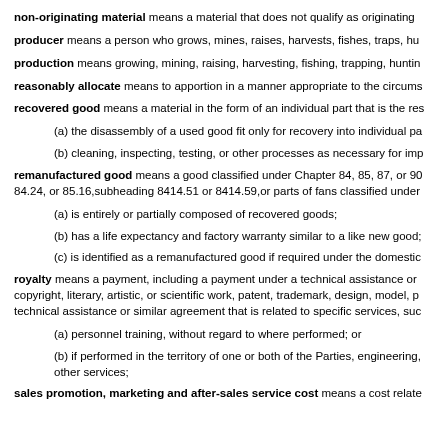non-originating material means a material that does not qualify as originating
producer means a person who grows, mines, raises, harvests, fishes, traps, hu
production means growing, mining, raising, harvesting, fishing, trapping, huntin
reasonably allocate means to apportion in a manner appropriate to the circums
recovered good means a material in the form of an individual part that is the res
(a) the disassembly of a used good fit only for recovery into individual pa
(b) cleaning, inspecting, testing, or other processes as necessary for imp
remanufactured good means a good classified under Chapter 84, 85, 87, or 90, 84.24, or 85.16, subheading 8414.51 or 8414.59, or parts of fans classified under
(a) is entirely or partially composed of recovered goods;
(b) has a life expectancy and factory warranty similar to a like new good;
(c) is identified as a remanufactured good if required under the domestic
royalty means a payment, including a payment under a technical assistance or copyright, literary, artistic, or scientific work, patent, trademark, design, model, p technical assistance or similar agreement that is related to specific services, suc
(a) personnel training, without regard to where performed; or
(b) if performed in the territory of one or both of the Parties, engineering, other services;
sales promotion, marketing and after-sales service cost means a cost relate